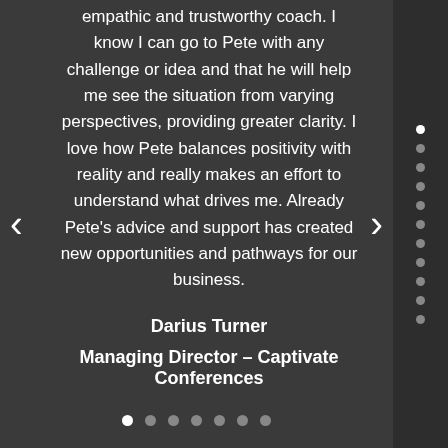empathic and trustworthy coach. I know I can go to Pete with any challenge or idea and that he will help me see the situation from varying perspectives, providing greater clarity. I love how Pete balances positivity with reality and really makes an effort to understand what drives me. Already Pete's advice and support has created new opportunities and pathways for our business.
Darius Turner
Managing Director – Captivate Conferences